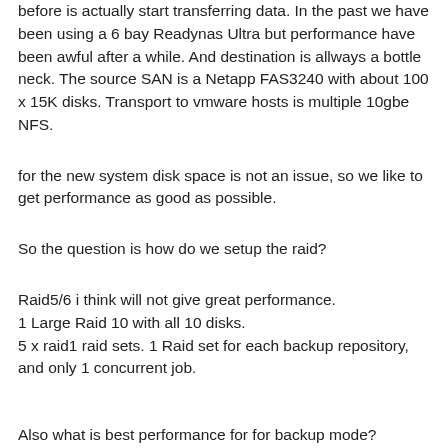before is actually start transferring data. In the past we have been using a 6 bay Readynas Ultra but performance have been awful after a while. And destination is allways a bottle neck. The source SAN is a Netapp FAS3240 with about 100 x 15K disks. Transport to vmware hosts is multiple 10gbe NFS.
for the new system disk space is not an issue, so we like to get performance as good as possible.
So the question is how do we setup the raid?
Raid5/6 i think will not give great performance.
1 Large Raid 10 with all 10 disks.
5 x raid1 raid sets. 1 Raid set for each backup repository, and only 1 concurrent job.
Also what is best performance for for backup mode? Reversed incremental or Incremental? We would like to hold data as long as possible.